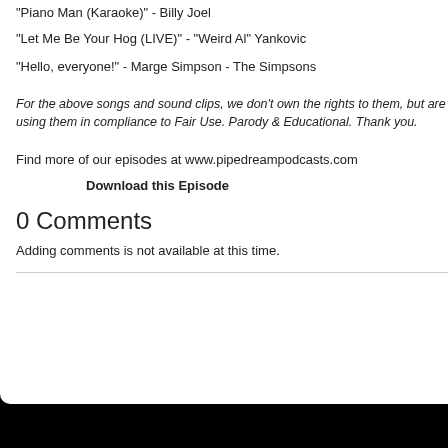"Piano Man (Karaoke)" - Billy Joel
"Let Me Be Your Hog (LIVE)" - "Weird Al" Yankovic
"Hello, everyone!" - Marge Simpson - The Simpsons
For the above songs and sound clips, we don't own the rights to them, but are using them in compliance to Fair Use. Parody & Educational. Thank you.
Find more of our episodes at www.pipedreampodcasts.com
Download this Episode
0 Comments
Adding comments is not available at this time.